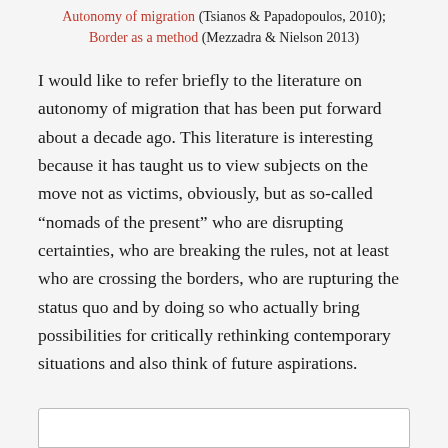Autonomy of migration (Tsianos & Papadopoulos, 2010); Border as a method (Mezzadra & Nielson 2013)
I would like to refer briefly to the literature on autonomy of migration that has been put forward about a decade ago. This literature is interesting because it has taught us to view subjects on the move not as victims, obviously, but as so-called “nomads of the present” who are disrupting certainties, who are breaking the rules, not at least who are crossing the borders, who are rupturing the status quo and by doing so who actually bring possibilities for critically rethinking contemporary situations and also think of future aspirations.